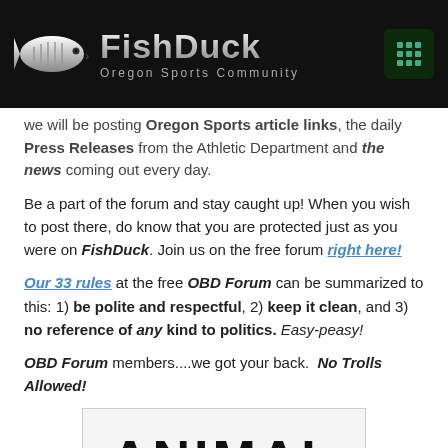FishDuck — Oregon Sports Community
we will be posting Oregon Sports article links, the daily Press Releases from the Athletic Department and the news coming out every day.
Be a part of the forum and stay caught up!  When you wish to post there, do know that you are protected just as you were on FishDuck. Join us on the free forum right here!
Our 33 rules at the free OBD Forum can be summarized to this: 1) be polite and respectful, 2) keep it clean, and 3) no reference of any kind to politics. Easy-peasy!
OBD Forum members....we got your back.  No Trolls Allowed!
[Figure (other): Advertisement banner showing the word ANIMAL in large bold text with ad controls at bottom left]